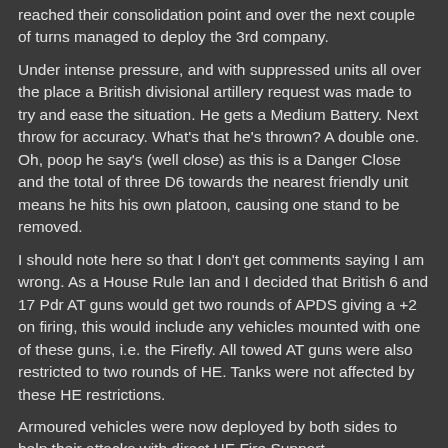reached their consolidation point and over the next couple of turns managed to deploy the 3rd company.
Under intense pressure, and with suppressed units all over the place a British divisional artillery request was made to try and ease the situation. He gets a Medium Battery. Next throw for accuracy. What's that he's thrown? A double one. Oh, poop he say's (well close) as this is a Danger Close and the total of three D6 towards the nearest friendly unit means he hits his own platoon, causing one stand to be removed.
I should note here so that I don't get comments saying I am wrong. As a House Rule Ian and I decided that British 6 and 17 Pdr AT guns would get two rounds of APDS giving a +2 on firing, this would include any vehicles mounted with one of these guns, i.e. the Firefly. All towed AT guns were also restricted to two rounds of HE. Tanks were not affected by these HE restrictions.
Armoured vehicles were now deployed by both sides to help their attacks with direct HE Fire Support.